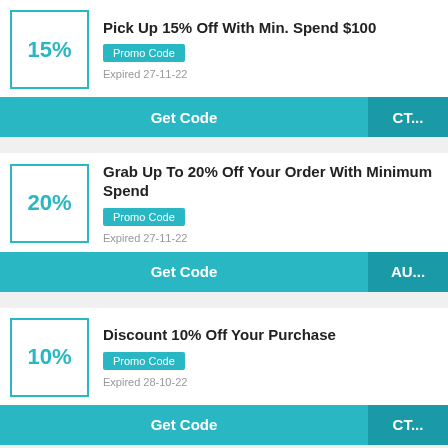Pick Up 15% Off With Min. Spend $100
Promo Code
Expired 27-11-22
Get Code
CT...
Grab Up To 20% Off Your Order With Minimum Spend
Promo Code
Expired 27-11-22
Get Code
AU...
Discount 10% Off Your Purchase
Promo Code
Expired 28-10-22
Get Code
CT...
2 Shirts As Much As $119.50 & More